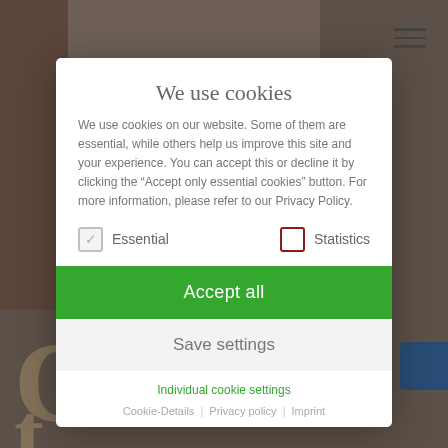[Figure (screenshot): Background website page partially visible behind a cookie consent modal dialog. Shows a partial photo of a person, large decorative letters, and text 'Hotel booking is a matter of trust. We want']
We use cookies
We use cookies on our website. Some of them are essential, while others help us improve this site and your experience. You can accept this or decline it by clicking the “Accept only essential cookies” button. For more information, please refer to our Privacy Policy.
Essential
Statistics
Accept all
Save settings
Individual cookie settings
Cookie-Details | Privacy policy | Imprint
Hotel booking is a matter of trust. We want